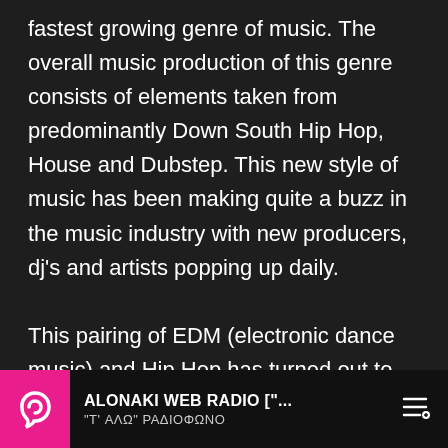fastest growing genre of music. The overall music production of this genre consists of elements taken from predominantly Down South Hip Hop, House and Dubstep. This new style of music has been making quite a buzz in the music industry with new producers, dj's and artists popping up daily.

This pairing of EDM (electronic dance music) and Hip Hop has turned out to be quite the perfect match. Two genres that had previously been on completely different sides of the spectrum are now working together to bring a new energy and sound to the club scene. We now have Hip Hop
ALONAKI WEB RADIO ["... | "T' ΑΛΩ" ΡΑΔΙΟΦΩΝΟ